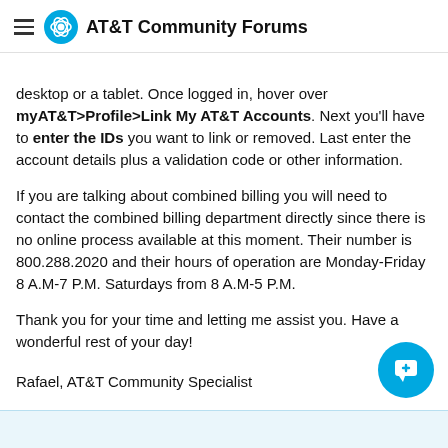AT&T Community Forums
desktop or a tablet. Once logged in, hover over myAT&T>Profile>Link My AT&T Accounts. Next you'll have to enter the IDs you want to link or removed. Last enter the account details plus a validation code or other information.
If you are talking about combined billing you will need to contact the combined billing department directly since there is no online process available at this moment. Their number is 800.288.2020 and their hours of operation are Monday-Friday 8 A.M-7 P.M. Saturdays from 8 A.M-5 P.M.
Thank you for your time and letting me assist you. Have a wonderful rest of your day!
Rafael, AT&T Community Specialist